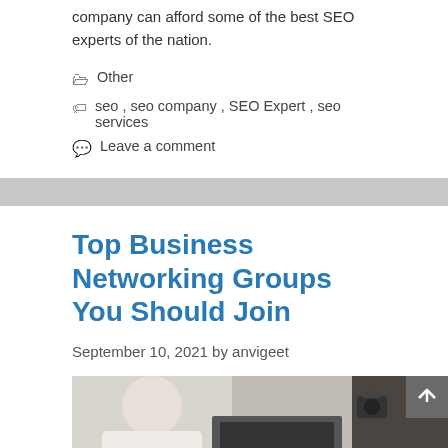company can afford some of the best SEO experts of the nation.
Other
seo , seo company , SEO Expert , seo services
Leave a comment
Top Business Networking Groups You Should Join
September 10, 2021 by anvigeet
[Figure (photo): Photo of person at desk with laptop and camera]